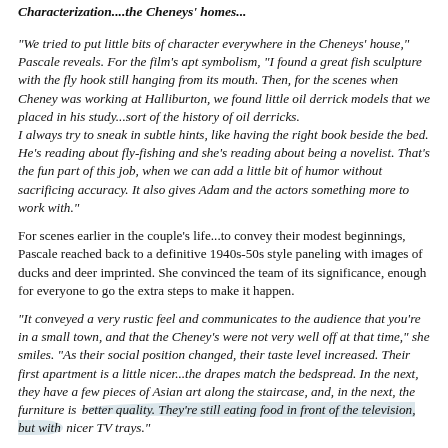Characterization....the Cheneys' homes...
“We tried to put little bits of character everywhere in the Cheneys’ house,” Pascale reveals. For the film’s apt symbolism, “I found a great fish sculpture with the fly hook still hanging from its mouth. Then, for the scenes when Cheney was working at Halliburton, we found little oil derrick models that we placed in his study...sort of the history of oil derricks.
I always try to sneak in subtle hints, like having the right book beside the bed. He’s reading about fly-fishing and she’s reading about being a novelist. That’s the fun part of this job, when we can add a little bit of humor without sacrificing accuracy. It also gives Adam and the actors something more to work with.”
For scenes earlier in the couple’s life...to convey their modest beginnings, Pascale reached back to a definitive 1940s-50s style paneling with images of ducks and deer imprinted. She convinced the team of its significance, enough for everyone to go the extra steps to make it happen.
“It conveyed a very rustic feel and communicates to the audience that you’re in a small town, and that the Cheney’s were not very well off at that time,” she smiles. “As their social position changed, their taste level increased. Their first apartment is a little nicer...the drapes match the bedspread. In the next, they have a few pieces of Asian art along the staircase, and, in the next, the furniture is better quality. They’re still eating food in front of the television, but with nicer TV trays.”